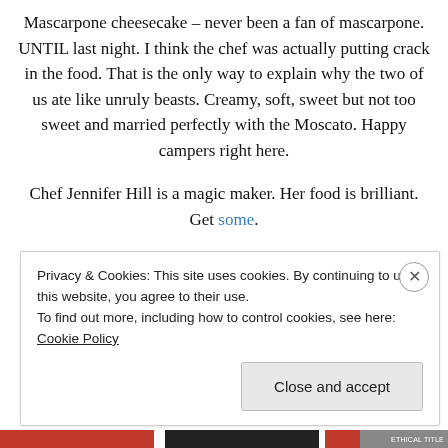Mascarpone cheesecake – never been a fan of mascarpone. UNTIL last night. I think the chef was actually putting crack in the food. That is the only way to explain why the two of us ate like unruly beasts. Creamy, soft, sweet but not too sweet and married perfectly with the Moscato. Happy campers right here.
Chef Jennifer Hill is a magic maker. Her food is brilliant. Get some.
So this makes four classes that I've done:
Privacy & Cookies: This site uses cookies. By continuing to use this website, you agree to their use.
To find out more, including how to control cookies, see here: Cookie Policy